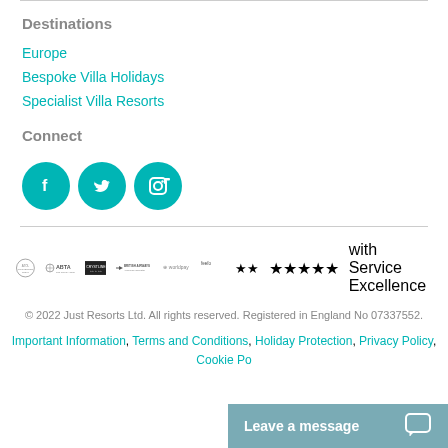Destinations
Europe
Bespoke Villa Holidays
Specialist Villa Resorts
Connect
[Figure (logo): Social media icons: Facebook, Twitter, Instagram (teal circles with white icons)]
[Figure (logo): Partner logos: ATOL, ABTA, Crystline, British Airways Approved Operator, Worldpay, Feefo 5 stars]
© 2022 Just Resorts Ltd. All rights reserved. Registered in England No 07337552.
Important Information, Terms and Conditions, Holiday Protection, Privacy Policy, Cookie Po...
Leave a message